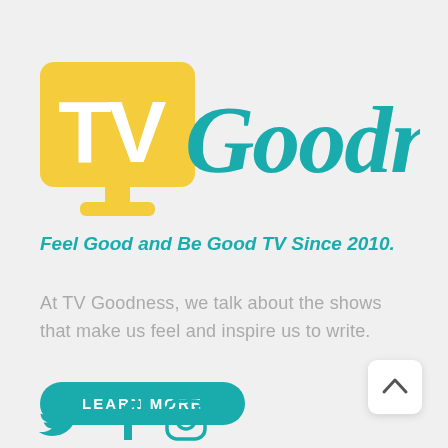[Figure (logo): TV Goodness logo: yellow TV icon with white 'TV' text and teal cursive 'Goodness' text]
Feel Good and Be Good TV Since 2010.
At TV Goodness, we talk about the shows that make us feel and inspire us to write.
LEARN MORE
[Figure (illustration): Back to top arrow button (chevron up) in white rounded square]
[Figure (illustration): Social media icons: Twitter bird, Facebook f, Instagram camera]